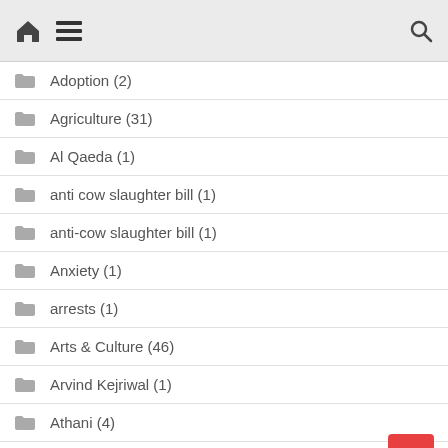Navigation header with home, menu, and search icons
Adoption (2)
Agriculture (31)
Al Qaeda (1)
anti cow slaughter bill (1)
anti-cow slaughter bill (1)
Anxiety (1)
arrests (1)
Arts & Culture (46)
Arvind Kejriwal (1)
Athani (4)
Autism (1)